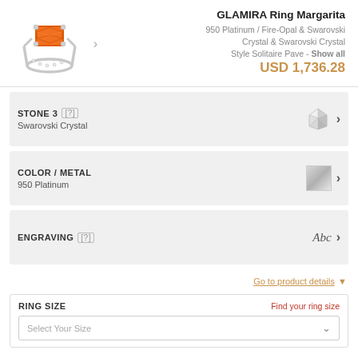[Figure (photo): Photo of a platinum ring with an orange fire-opal center stone and Swarovski crystal accents]
GLAMIRA Ring Margarita
950 Platinum / Fire-Opal & Swarovski Crystal & Swarovski Crystal
Style Solitaire Pave - Show all
USD 1,736.28
STONE 3 [?]
Swarovski Crystal
COLOR / METAL
950 Platinum
ENGRAVING [?]
Go to product details
RING SIZE
Find your ring size
Select Your Size